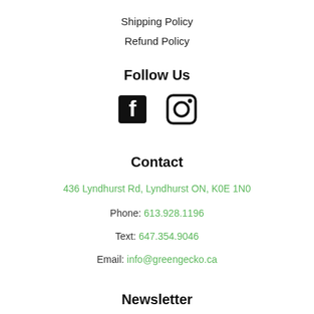Shipping Policy
Refund Policy
Follow Us
[Figure (illustration): Facebook and Instagram social media icons side by side]
Contact
436 Lyndhurst Rd, Lyndhurst ON, K0E 1N0
Phone: 613.928.1196
Text: 647.354.9046
Email: info@greengecko.ca
Newsletter